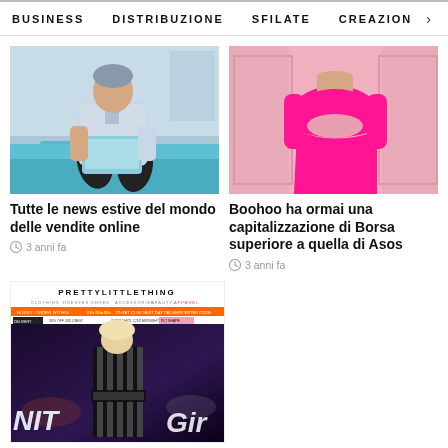BUSINESS   DISTRIBUZIONE   SFILATE   CREAZION  >
[Figure (photo): Person sitting with laptop computer on lap, blue background]
Tutte le news estive del mondo delle vendite online
3 anni fa
[Figure (photo): Woman wearing bright pink crop top and skirt outfit]
Boohoo ha ormai una capitalizzazione di Borsa superiore a quella di Asos
3 anni fa
[Figure (screenshot): PrettyLittleThing website screenshot with blonde woman in striped outfit, neon lights in background]